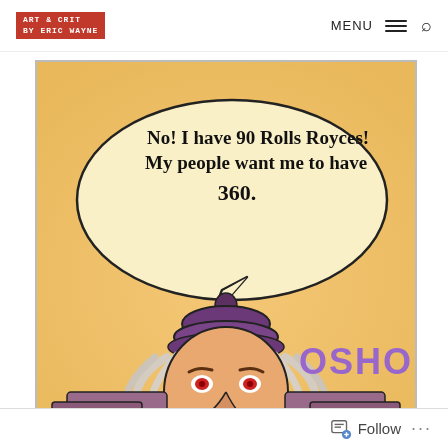ART & CRIT BY ERIC WAYNE | MENU
[Figure (illustration): Cartoon illustration of Osho (a bearded guru figure with long wavy white hair and beard, wearing a distinctive rounded purple/dark hat with a knob on top, angry red eyes) with a speech bubble saying 'No! I have 90 Rolls Royces! My people want me to have 360.' The word 'OSHO' appears in large purple letters to the right. Background is warm orange/peach gradient. Character is wearing purple robes.]
Follow ...